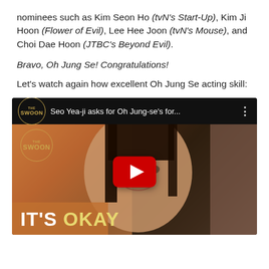nominees such as Kim Seon Ho (tvN's Start-Up), Kim Ji Hoon (Flower of Evil), Lee Hee Joon (tvN's Mouse), and Choi Dae Hoon (JTBC's Beyond Evil).
Bravo, Oh Jung Se! Congratulations!
Let's watch again how excellent Oh Jung Se acting skill:
[Figure (screenshot): YouTube video thumbnail for 'Seo Yea-ji asks for Oh Jung-se's for...' from The Swoon channel. Shows a woman with long dark hair making an emotional crying expression. Red YouTube play button in center. Bottom text reads 'IT'S OKAY' in white and yellow bold letters. The Swoon logo badge appears twice.]